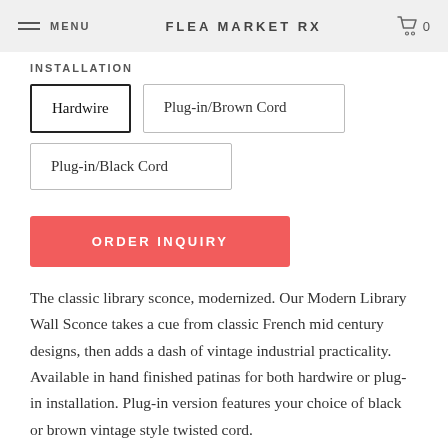MENU  FLEA MARKET RX  0
INSTALLATION
Hardwire
Plug-in/Brown Cord
Plug-in/Black Cord
ORDER INQUIRY
The classic library sconce, modernized. Our Modern Library Wall Sconce takes a cue from classic French mid century designs, then adds a dash of vintage industrial practicality. Available in hand finished patinas for both hardwire or plug-in installation. Plug-in version features your choice of black or brown vintage style twisted cord.